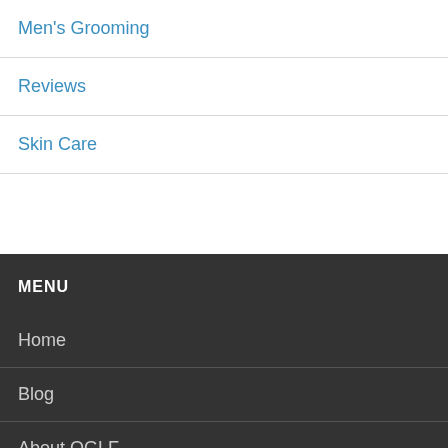Men's Grooming
Reviews
Skin Care
MENU
Home
Blog
About OGLF